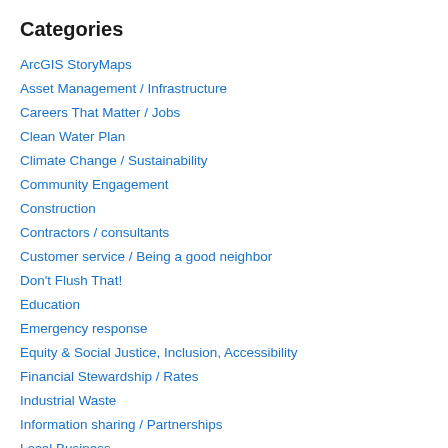Categories
ArcGIS StoryMaps
Asset Management / Infrastructure
Careers That Matter / Jobs
Clean Water Plan
Climate Change / Sustainability
Community Engagement
Construction
Contractors / consultants
Customer service / Being a good neighbor
Don't Flush That!
Education
Emergency response
Equity & Social Justice, Inclusion, Accessibility
Financial Stewardship / Rates
Industrial Waste
Information sharing / Partnerships
Local Business
Nitrogen / Nutrients
Operations / Wastewater Treatment